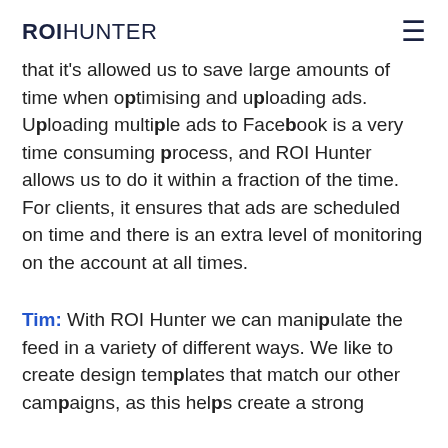ROIHUNTER
that it's allowed us to save large amounts of time when optimising and uploading ads. Uploading multiple ads to Facebook is a very time consuming process, and ROI Hunter allows us to do it within a fraction of the time. For clients, it ensures that ads are scheduled on time and there is an extra level of monitoring on the account at all times.
Tim: With ROI Hunter we can manipulate the feed in a variety of different ways. We like to create design templates that match our other campaigns, as this helps create a strong